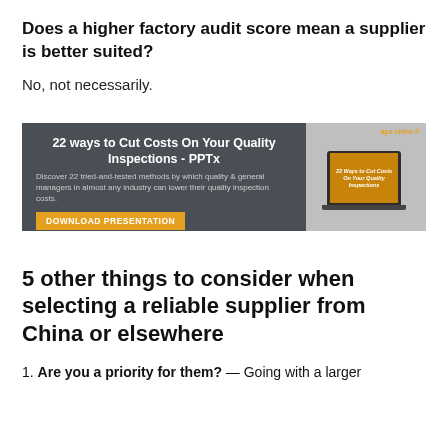Does a higher factory audit score mean a supplier is better suited?
No, not necessarily.
[Figure (infographic): Banner advertisement: '22 ways to Cut Costs On Your Quality Inspections - PPTx'. Dark grey background with orange and white text, a download button, and a laptop image showing the presentation cover on the right side.]
5 other things to consider when selecting a reliable supplier from China or elsewhere
1. Are you a priority for them? — Going with a larger